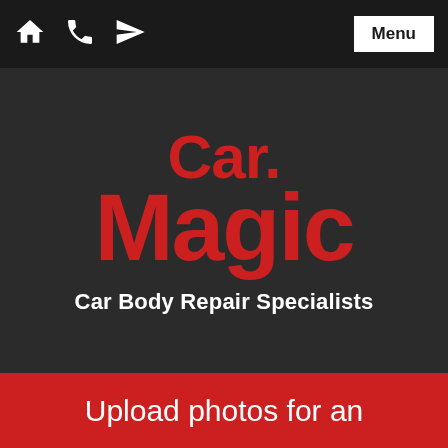[Figure (screenshot): Mobile website navigation bar with home, phone, and send icons on left and Menu button on right, dark background]
[Figure (logo): Car Magic logo in red text on dark background with 'Car.' on top line and 'Magic' on second line in large bold font]
Car Body Repair Specialists
Upload photos for an